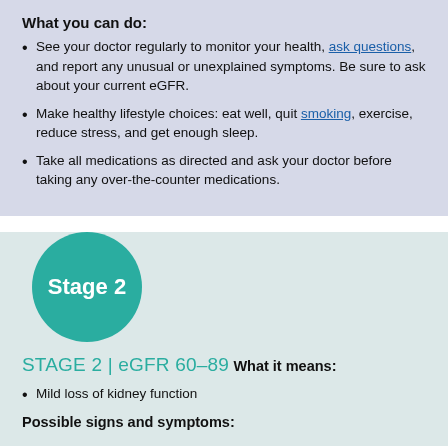What you can do:
See your doctor regularly to monitor your health, ask questions, and report any unusual or unexplained symptoms. Be sure to ask about your current eGFR.
Make healthy lifestyle choices: eat well, quit smoking, exercise, reduce stress, and get enough sleep.
Take all medications as directed and ask your doctor before taking any over-the-counter medications.
[Figure (illustration): Teal circle with white bold text reading 'Stage 2']
STAGE 2 | eGFR 60–89
What it means:
Mild loss of kidney function
Possible signs and symptoms: